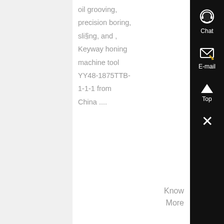oil grooving, precision boring, sli§ng, and , Keyway honing machine tool YY48-1875TTB-1-1-1 from China ....
Know More
[Figure (photo): Outdoor industrial quarry/mining facility with large machinery and processing equipment under a blue sky with clouds.]
G 250 generating and profile grinding machine